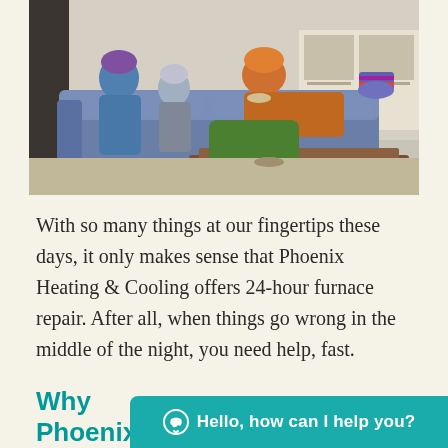[Figure (photo): A family bundled in winter coats, hats, and scarves sitting on a blue sofa in a living room, huddled together as if cold indoors. A wooden coffee table is in the foreground.]
With so many things at our fingertips these days, it only makes sense that Phoenix Heating & Cooling offers 24-hour furnace repair. After all, when things go wrong in the middle of the night, you need help, fast.
Why Phoenix Heating & Cooling Is Th... For 24-Hour Furnace Repair...